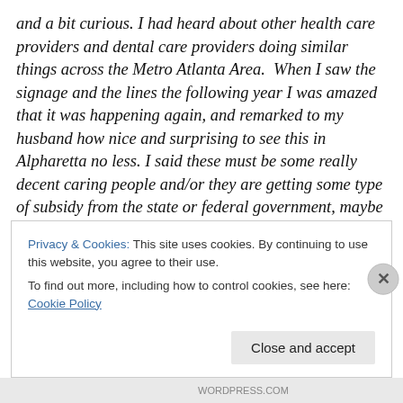and a bit curious. I had heard about other health care providers and dental care providers doing similar things across the Metro Atlanta Area.  When I saw the signage and the lines the following year I was amazed that it was happening again, and remarked to my husband how nice and surprising to see this in Alpharetta no less. I said these must be some really decent caring people and/or they are getting some type of subsidy from the state or federal government, maybe a tax write off. This year I happily conceded and gave in, that no matter what the reason was, the act and you all deserve acknowledgement
Privacy & Cookies: This site uses cookies. By continuing to use this website, you agree to their use. To find out more, including how to control cookies, see here: Cookie Policy
Close and accept
WORDPRESS.COM